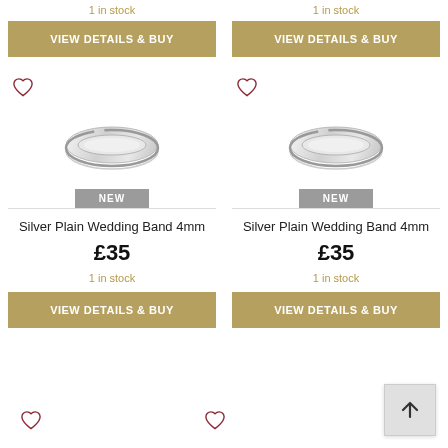1 in stock
1 in stock
VIEW DETAILS & BUY
VIEW DETAILS & BUY
[Figure (photo): Silver plain wedding band ring, flat court style, silver color]
[Figure (photo): Silver plain wedding band ring, flat court style, silver color]
NEW
NEW
Silver Plain Wedding Band 4mm
Silver Plain Wedding Band 4mm
£35
£35
1 in stock
1 in stock
VIEW DETAILS & BUY
VIEW DETAILS & BUY